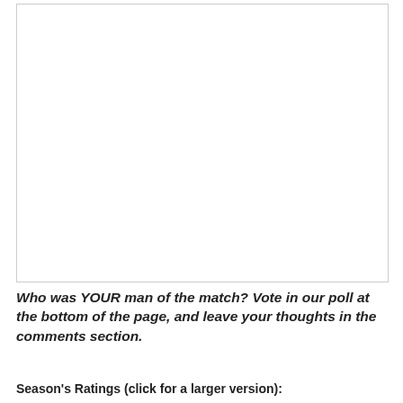[Figure (photo): Large blank/white image placeholder in a bordered box]
Who was YOUR man of the match? Vote in our poll at the bottom of the page, and leave your thoughts in the comments section.
Season's Ratings (click for a larger version):